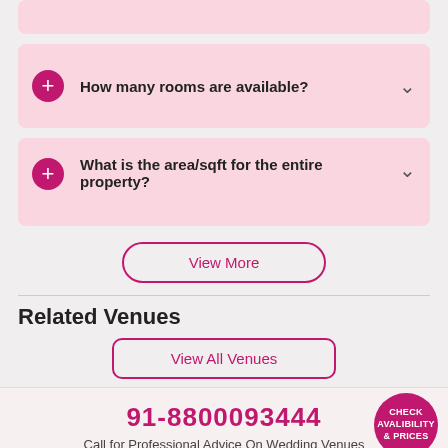How many rooms are available?
What is the area/sqft for the entire property?
View More
Related Venues
View All Venues
91-8800093344
Call for Professional Advice On Wedding Venues
CHECK AVALIBILITY & PRICES